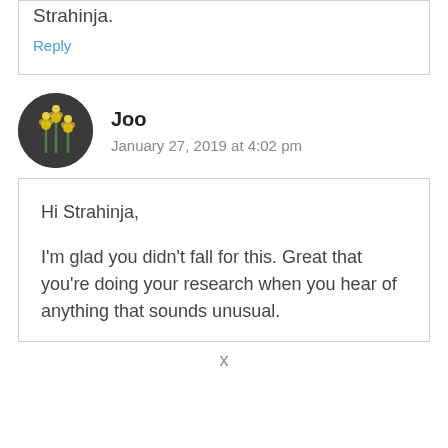Strahinja.
Reply
Joo
January 27, 2019 at 4:02 pm
Hi Strahinja,

I'm glad you didn't fall for this. Great that you're doing your research when you hear of anything that sounds unusual.